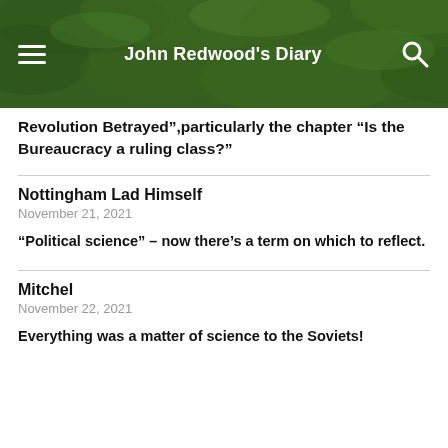John Redwood's Diary
Revolution Betrayed”,particularly the chapter “Is the Bureaucracy a ruling class?”
Nottingham Lad Himself
November 21, 2021
“Political science” – now there’s a term on which to reflect.
Mitchel
November 22, 2021
Everything was a matter of science to the Soviets!